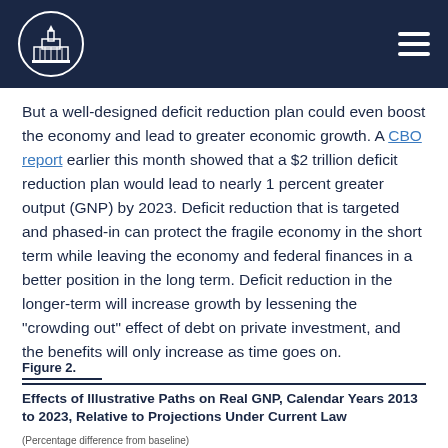CBO logo and navigation header
But a well-designed deficit reduction plan could even boost the economy and lead to greater economic growth. A CBO report earlier this month showed that a $2 trillion deficit reduction plan would lead to nearly 1 percent greater output (GNP) by 2023. Deficit reduction that is targeted and phased-in can protect the fragile economy in the short term while leaving the economy and federal finances in a better position in the long term. Deficit reduction in the longer-term will increase growth by lessening the "crowding out" effect of debt on private investment, and the benefits will only increase as time goes on.
Figure 2.
Effects of Illustrative Paths on Real GNP, Calendar Years 2013 to 2023, Relative to Projections Under Current Law
(Percentage difference from baseline)